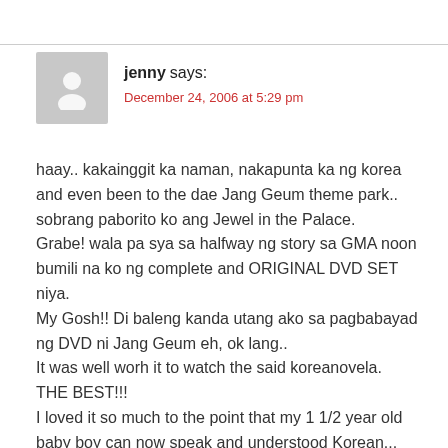[Figure (illustration): Gray avatar silhouette icon of a person (head and shoulders), placeholder user image]
jenny says:
December 24, 2006 at 5:29 pm
haay.. kakainggit ka naman, nakapunta ka ng korea and even been to the dae Jang Geum theme park.. sobrang paborito ko ang Jewel in the Palace. Grabe! wala pa sya sa halfway ng story sa GMA noon bumili na ko ng complete and ORIGINAL DVD SET niya. My Gosh!! Di baleng kanda utang ako sa pagbabayad ng DVD ni Jang Geum eh, ok lang.. It was well worh it to watch the said koreanovela. THE BEST!!! I loved it so much to the point that my 1 1/2 year old baby boy can now speak and understood Korean...